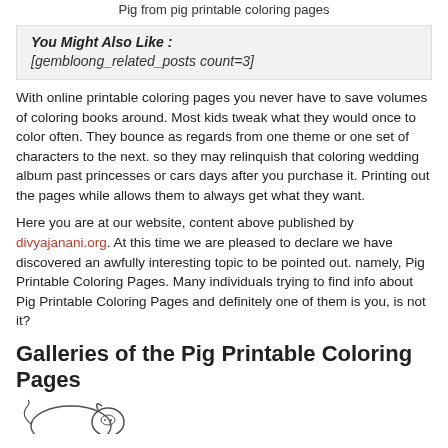Pig from pig printable coloring pages
You Might Also Like :
[gembloong_related_posts count=3]
With online printable coloring pages you never have to save volumes of coloring books around. Most kids tweak what they would once to color often. They bounce as regards from one theme or one set of characters to the next. so they may relinquish that coloring wedding album past princesses or cars days after you purchase it. Printing out the pages while allows them to always get what they want.
Here you are at our website, content above published by divyajanani.org. At this time we are pleased to declare we have discovered an awfully interesting topic to be pointed out. namely, Pig Printable Coloring Pages. Many individuals trying to find info about Pig Printable Coloring Pages and definitely one of them is you, is not it?
Galleries of the Pig Printable Coloring Pages
[Figure (illustration): Partial illustration of a pig from pig printable coloring pages, showing top of pig outline]